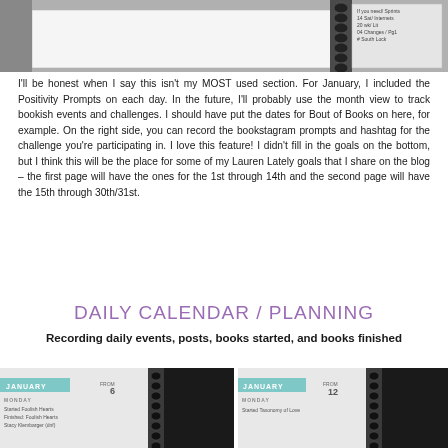[Figure (photo): Top portion of a spiral-bound planner notebook open to a page, with a small right-side panel showing handwritten text entries]
I'll be honest when I say this isn't my MOST used section. For January, I included the Positivity Prompts on each day. In the future, I'll probably use the month view to track bookish events and challenges. I should have put the dates for Bout of Books on here, for example. On the right side, you can record the bookstagram prompts and hashtag for the challenge you're participating in. I love this feature! I didn't fill in the goals on the bottom, but I think this will be the place for some of my Lauren Lately goals that I share on the blog – the first page will have the ones for the 1st through 14th and the second page will have the 15th through 30th/31st.
DAILY CALENDAR / PLANNING
Recording daily events, posts, books started, and books finished
[Figure (photo): Left photo of spiral-bound January daily planner page showing day entries with handwritten text for books started/finished, with teal January header tab]
[Figure (photo): Right photo of spiral-bound January daily planner page showing day 12 entry with handwritten text 'Started Taxonomy of Love', with teal January header tab]